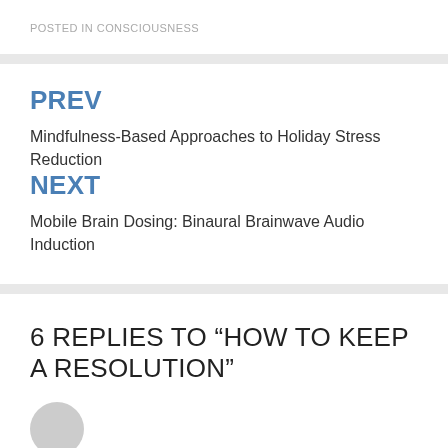POSTED IN CONSCIOUSNESS
PREV
Mindfulness-Based Approaches to Holiday Stress Reduction
NEXT
Mobile Brain Dosing: Binaural Brainwave Audio Induction
6 REPLIES TO “HOW TO KEEP A RESOLUTION”